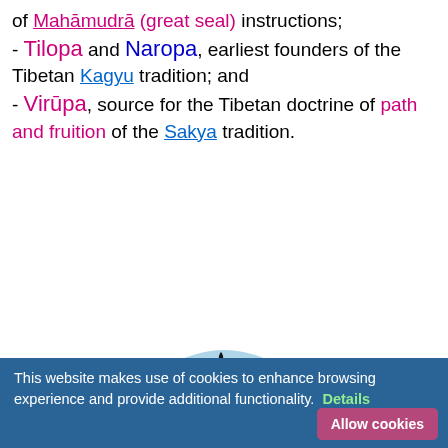of Mahāmudrā (great seal) instructions;
- Tilopa and Naropa, earliest founders of the Tibetan Kagyu tradition; and
- Virūpa, source for the Tibetan doctrine of path and fruition of the Sakya tradition.
[Figure (illustration): Circular religious symbols illustration showing a light blue ring containing multiple world religion symbols: Sikh Khanda, Hamsa hand, Om symbol, Islamic crescent and star, Dharma wheel, dove with olive branch, oil lamp, Star of David, Christian cross, Yin-Yang, and a Bahá'í star.]
This website makes use of cookies to enhance browsing experience and provide additional functionality. Details
Allow cookies